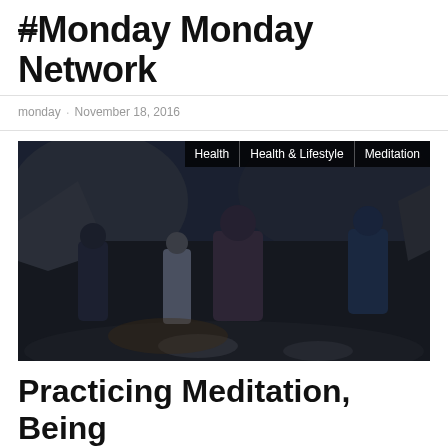# Monday Monday Network
monday · November 18, 2016
[Figure (photo): Dark cinematic scene showing a group of people in a cave or rocky environment; several figures standing, with a central muscular figure. Navigation tags reading Health, Health & Lifestyle, and Meditation appear in the top right corner.]
Practicing Meditation, Being Mindful of Your Breathing